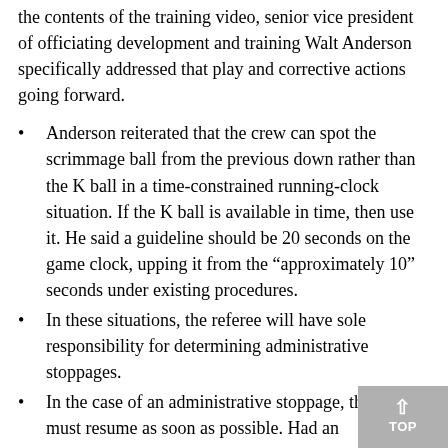the contents of the training video, senior vice president of officiating development and training Walt Anderson specifically addressed that play and corrective actions going forward.
Anderson reiterated that the crew can spot the scrimmage ball from the previous down rather than the K ball in a time-constrained running-clock situation. If the K ball is available in time, then use it. He said a guideline should be 20 seconds on the game clock, upping it from the “approximately 10” seconds under existing procedures.
In these situations, the referee will have sole responsibility for determining administrative stoppages.
In the case of an administrative stoppage, the clock must resume as soon as possible. Had an